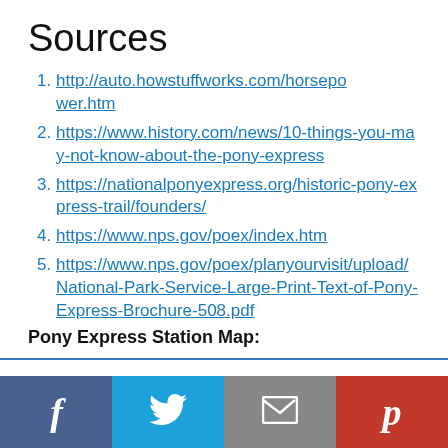Sources
http://auto.howstuffworks.com/horsepower.htm
https://www.history.com/news/10-things-you-may-not-know-about-the-pony-express
https://nationalponyexpress.org/historic-pony-express-trail/founders/
https://www.nps.gov/poex/index.htm
https://www.nps.gov/poex/planyourvisit/upload/National-Park-Service-Large-Print-Text-of-Pony-Express-Brochure-508.pdf
Pony Express Station Map:
f | Twitter bird | envelope | p